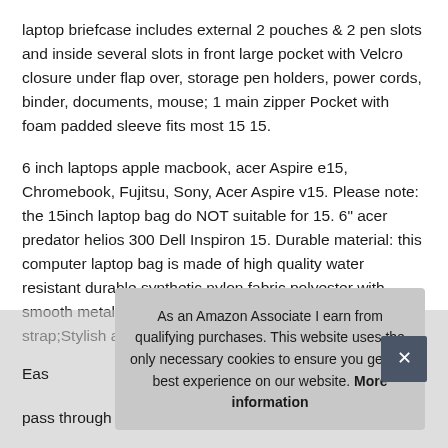laptop briefcase includes external 2 pouches & 2 pen slots and inside several slots in front large pocket with Velcro closure under flap over, storage pen holders, power cords, binder, documents, mouse; 1 main zipper Pocket with foam padded sleeve fits most 15 15.
6 inch laptops apple macbook, acer Aspire e15, Chromebook, Fujitsu, Sony, Acer Aspire v15. Please note: the 15inch laptop bag do NOT suitable for 15. 6" acer predator helios 300 Dell Inspiron 15. Durable material: this computer laptop bag is made of high quality water resistant durable synthetic nylon fabric polyester with smooth metal zipper and durable metal hook of strap;Stylish and functional, this is a nice gift idea for Moth
Eas
pass through strap along the back, which allows the man
As an Amazon Associate I earn from qualifying purchases. This website uses the only necessary cookies to ensure you get the best experience on our website. More information